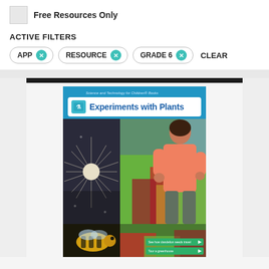Free Resources Only
ACTIVE FILTERS
APP × RESOURCE × GRADE 6 × CLEAR
[Figure (photo): Book cover for 'Experiments with Plants' from Science and Technology for Children Books series, showing a dandelion seed, a person tending plants in a greenhouse, colorful foliage, a bee, and green interactive buttons labeled 'See how dandelion seeds travel' and 'Tour a greenhouse'.]